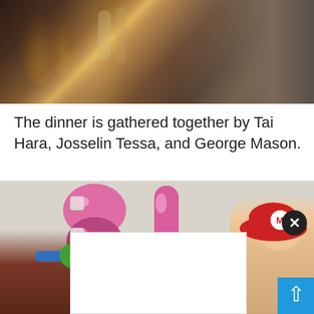[Figure (photo): Top portion of a party/dinner photo showing people gathered around a table with candles and drinks, warm amber lighting]
The dinner is gathered together by Tai Hara, Josselin Tessa, and George Mason.
[Figure (photo): Birthday party photo with large pink balloon numbers '31', people wearing Mario and Luigi costumes/hats, with a white advertisement overlay and close button, plus a blue scroll-to-top button]